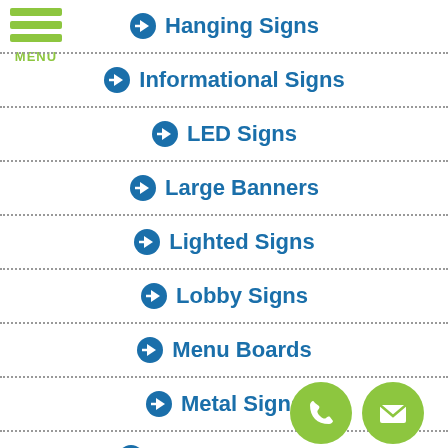[Figure (infographic): Green hamburger menu icon with three bars and MENU label]
Hanging Signs
Informational Signs
LED Signs
Large Banners
Lighted Signs
Lobby Signs
Menu Boards
Metal Signs
Monument Signs
[Figure (illustration): Green circle phone icon (call button)]
[Figure (illustration): Green circle email/envelope icon (contact button)]